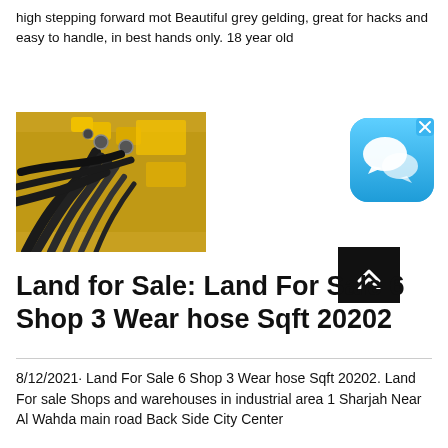high stepping forward mot Beautiful grey gelding, great for hacks and easy to handle, in best hands only. 18 year old
[Figure (photo): Industrial hydraulic hose fittings and connectors on yellow machinery]
[Figure (screenshot): Chat/messaging app icon on blue gradient background with X close button]
Land for Sale: Land For Sale 6 Shop 3 Wear hose Sqft 20202
8/12/2021· Land For Sale 6 Shop 3 Wear hose Sqft 20202. Land For sale Shops and warehouses in industrial area 1 Sharjah Near Al Wahda main road Back Side City Center